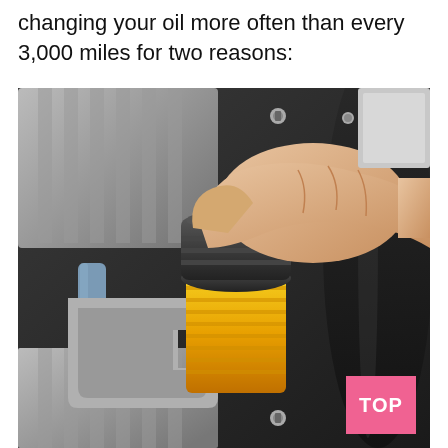changing your oil more often than every 3,000 miles for two reasons:
[Figure (photo): Close-up photo of a person's hand removing or installing a cylindrical oil filter canister housing in a car engine bay. The filter is yellow. The engine components including black plastic covers, hoses, and metal brackets are visible.]